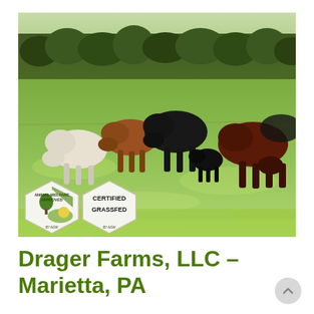[Figure (photo): Photograph of a group of cattle grazing on a lush green pasture with trees in the background. In the lower left corner, two certification badges are overlaid: 'Animal Welfare Approved by AGW' and 'Certified Grassfed by AGW'.]
Drager Farms, LLC – Marietta, PA